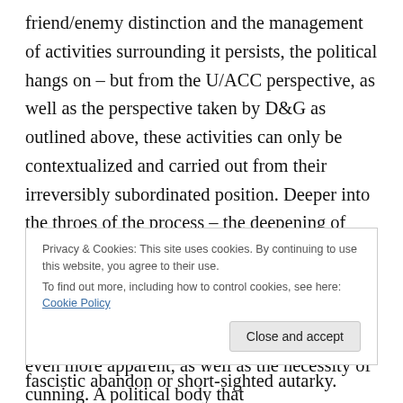friend/enemy distinction and the management of activities surrounding it persists, the political hangs on – but from the U/ACC perspective, as well as the perspective taken by D&G as outlined above, these activities can only be contextualized and carried out from their irreversibly subordinated position. Deeper into the throes of the process – the deepening of world capitalist integration – and political activity becomes a question of how to relate to this process. Measured against this, the politico-physical suicide of fascism becomes even more apparent, as well as the necessity of cunning. A political body that
Privacy & Cookies: This site uses cookies. By continuing to use this website, you agree to their use.
To find out more, including how to control cookies, see here: Cookie Policy
fascistic abandon or short-sighted autarky.